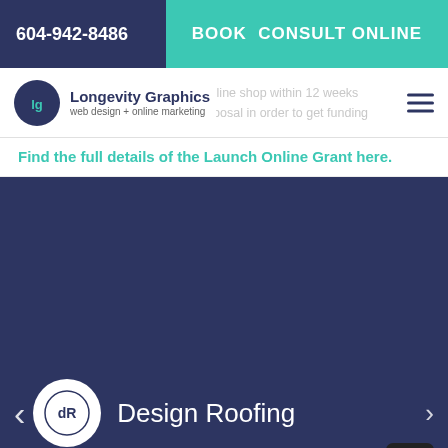604-942-8486
BOOK CONSULT ONLINE
[Figure (logo): Longevity Graphics logo — circular dark blue icon with 'lg' lettering, company name 'Longevity Graphics' and tagline 'web design + online marketing']
You must start and finish your online shop within 12 weeks
You must submit a complete proposal in order to get funding
Find the full details of the Launch Online Grant here.
[Figure (logo): Design Roofing logo — circular icon with 'dR' text in dark blue on white background]
Design Roofing